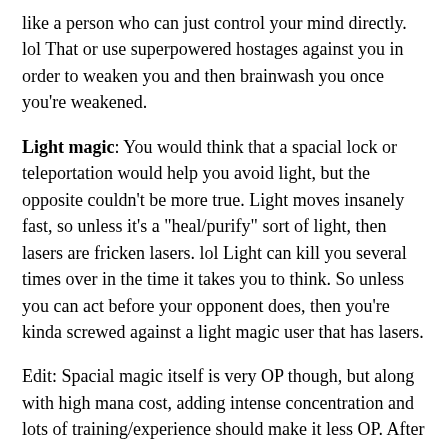like a person who can just control your mind directly. lol That or use superpowered hostages against you in order to weaken you and then brainwash you once you're weakened.
Light magic: You would think that a spacial lock or teleportation would help you avoid light, but the opposite couldn't be more true. Light moves insanely fast, so unless it's a "heal/purify" sort of light, then lasers are fricken lasers. lol Light can kill you several times over in the time it takes you to think. So unless you can act before your opponent does, then you're kinda screwed against a light magic user that has lasers.
Edit: Spacial magic itself is very OP though, but along with high mana cost, adding intense concentration and lots of training/experience should make it less OP. After all, no matter how powerful something is, if you can't use it the way you want when you need it, then it